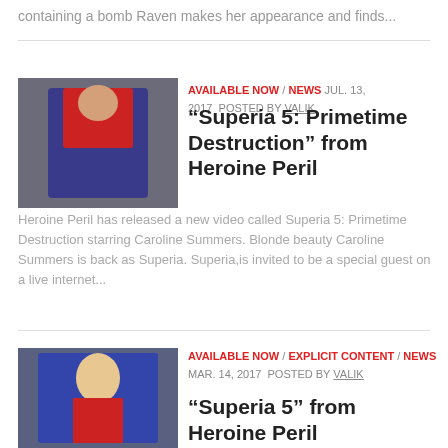containing a bomb Raven makes her appearance and finds...
[Figure (photo): Thumbnail image of a person in a superhero costume lying down]
AVAILABLE NOW / NEWS  JUL. 13, 2017  POSTED BY VALIK
“Superia 5: Primetime Destruction” from Heroine Peril
Heroine Peril has released a new video called Superia 5: Primetime Destruction starring Caroline Summers. Blonde beauty Caroline Summers is back as Superia. Superia,is invited to be a special guest on a live internet...
[Figure (photo): Thumbnail image of a blonde woman in a superhero costume]
AVAILABLE NOW / EXPLICIT CONTENT / NEWS  MAR. 14, 2017  POSTED BY VALIK
“Superia 5” from Heroine Peril